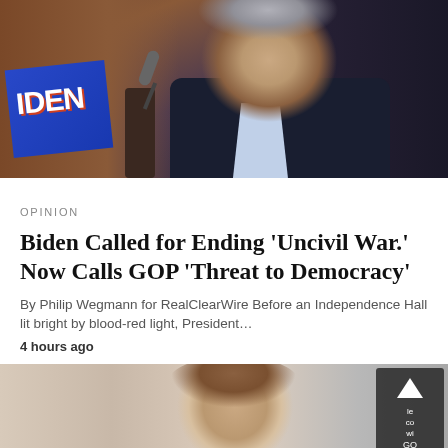[Figure (photo): Photo of Joe Biden at a podium near a blue campaign sign, wearing a dark suit, with a microphone visible]
OPINION
Biden Called for Ending ‘Uncivil War.’ Now Calls GOP ‘Threat to Democracy’
By Philip Wegmann for RealClearWire Before an Independence Hall lit bright by blood-red light, President…
4 hours ago
[Figure (photo): Partial photo of a woman with brown hair, with a dark overlay icon featuring a triangle/play button in upper right corner]